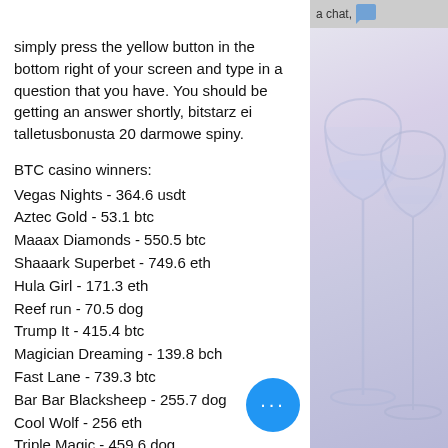simply press the yellow button in the bottom right of your screen and type in a question that you have. You should be getting an answer shortly, bitstarz ei talletusbonusta 20 darmowe spiny.
BTC casino winners:
Vegas Nights - 364.6 usdt
Aztec Gold - 53.1 btc
Maaax Diamonds - 550.5 btc
Shaaark Superbet - 749.6 eth
Hula Girl - 171.3 eth
Reef run - 70.5 dog
Trump It - 415.4 btc
Magician Dreaming - 139.8 bch
Fast Lane - 739.3 btc
Bar Bar Blacksheep - 255.7 dog
Cool Wolf - 256 eth
Triple Magic - 459.6 dog
Leonardo's Loot - 288.9 eth
La Cucaracha - 81.5 bch
[Figure (photo): Wine glasses on a purple/lavender gradient background, right side panel]